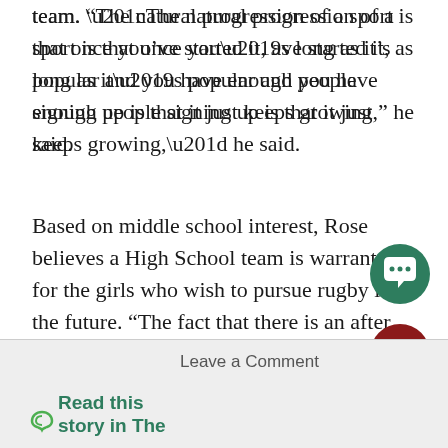team. “The natural progression of a sport is that once you’ve started it, as long as it’s popular and you have enough people signing up is that it just keeps growing,” he said.
Based on middle school interest, Rose believes a High School team is warranted for the girls who wish to pursue rugby in the future. “The fact that there is an after school program for the Middle School makes it all the more important to have a female rugby team,” Rose said.  “We need to make it more easily accessible for those girls, and other girls as well, who want to do rugby in high school.”
Leave a Comment
Read this story in The